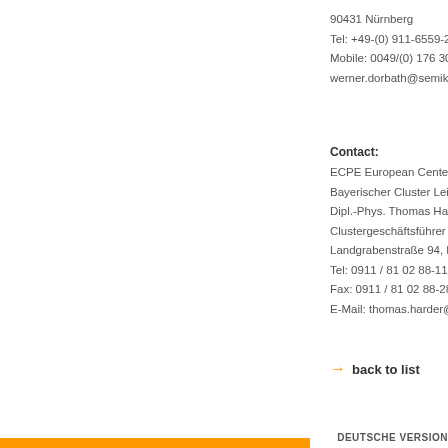90431 Nürnberg
Tel: +49-(0) 911-6559-2
Mobile: 0049/(0) 176 30
werner.dorbath@semikro
Contact:
ECPE European Center fo
Bayerischer Cluster Leist
Dipl.-Phys. Thomas Hard
Clustergeschäftsführer
Landgrabenstraße 94, D-
Tel: 0911 / 81 02 88-11
Fax: 0911 / 81 02 88-28
E-Mail: thomas.harder@e
→ back to list
DEUTSCHE VERSION